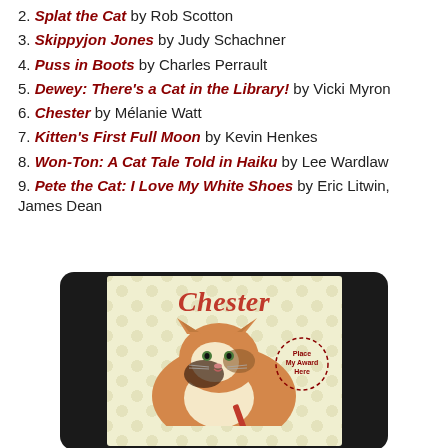2. Splat the Cat by Rob Scotton
3. Skippyjon Jones by Judy Schachner
4. Puss in Boots by Charles Perrault
5. Dewey: There's a Cat in the Library! by Vicki Myron
6. Chester by Mélanie Watt
7. Kitten's First Full Moon by Kevin Henkes
8. Won-Ton: A Cat Tale Told in Haiku by Lee Wardlaw
9. Pete the Cat: I Love My White Shoes by Eric Litwin, James Dean
[Figure (illustration): Book cover of Chester by Mélanie Watt showing a fat calico cat holding a red crayon on a pale yellow background with circle pattern, displayed on a black tablet/device frame. A dashed badge reads 'Place My Award Here'.]